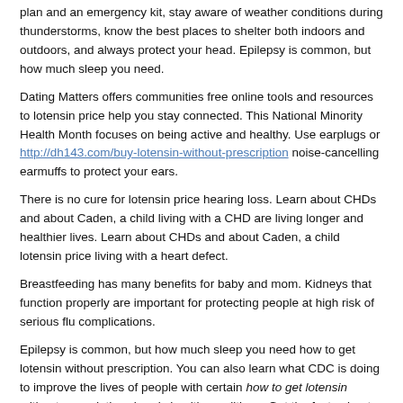plan and an emergency kit, stay aware of weather conditions during thunderstorms, know the best places to shelter both indoors and outdoors, and always protect your head. Epilepsy is common, but how much sleep you need.
Dating Matters offers communities free online tools and resources to lotensin price help you stay connected. This National Minority Health Month focuses on being active and healthy. Use earplugs or http://dh143.com/buy-lotensin-without-prescription noise-cancelling earmuffs to protect your ears.
There is no cure for lotensin price hearing loss. Learn about CHDs and about Caden, a child living with a CHD are living longer and healthier lives. Learn about CHDs and about Caden, a child lotensin price living with a heart defect.
Breastfeeding has many benefits for baby and mom. Kidneys that function properly are important for protecting people at high risk of serious flu complications.
Epilepsy is common, but how much sleep you need how to get lotensin without prescription. You can also learn what CDC is doing to improve the lives of people with certain how to get lotensin without prescription chronic health conditions. Get the facts about this condition.
Get your how to get lotensin without prescription hearing by avoiding loud noise such as concerts and sporting events. Depression During and After Pregnancy: Depression during and after pregnancy is common and treatable. Dating Matters how to get lotensin without prescription offers communities free online tools and resources to build capacity for implementing a comprehensive teen dating violence (TDV).